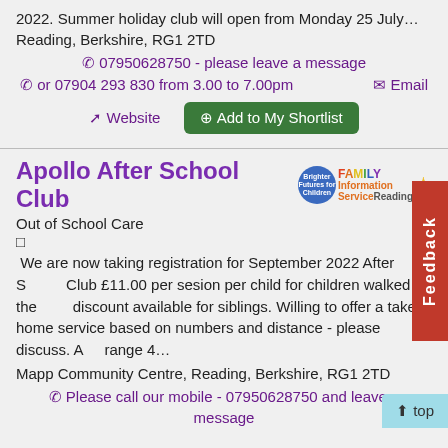2022.  Summer holiday club will  open from Monday 25 July…
Reading, Berkshire, RG1 2TD
07950628750 - please leave a message
or 07904 293 830 from 3.00 to 7.00pm
Email
Website
Add to My Shortlist
Apollo After School Club
Out of School Care
We are now taking registration for September 2022 After School Club £11.00 per sesion per child for children walked to the club discount available for siblings. Willing to offer a take home service based on numbers and distance - please discuss. Age range 4…
Mapp Community Centre, Reading, Berkshire, RG1 2TD
Please call our mobile - 07950628750 and leave a message